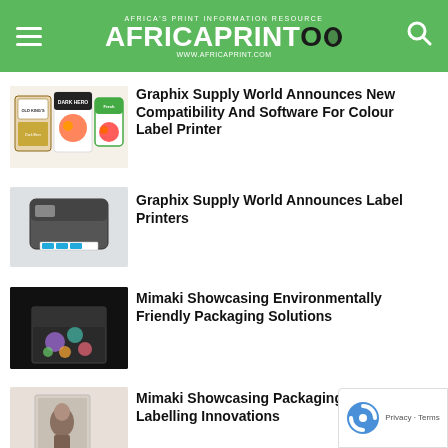AFRICA PRINTO
[Figure (photo): Colorful product labels including food and wine labels on white background]
Graphix Supply World Announces New Compatibility And Software For Colour Label Printer
[Figure (photo): Label printer device (black/grey) with printed labels on a white background]
Graphix Supply World Announces Label Printers
[Figure (photo): Decorated box with colorful floral print on dark/black background]
Mimaki Showcasing Environmentally Friendly Packaging Solutions
[Figure (photo): Packaging/book with woman portrait on light background]
Mimaki Showcasing Packaging And Labelling Innovations